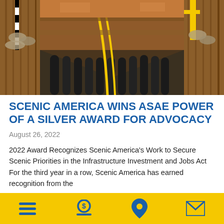[Figure (photo): Underground trench with multiple black cables/conduits and yellow cables laid in a wooden-shored excavation, viewed from above at an angle.]
SCENIC AMERICA WINS ASAE POWER OF A SILVER AWARD FOR ADVOCACY
August 26, 2022
2022 Award Recognizes Scenic America’s Work to Secure Scenic Priorities in the Infrastructure Investment and Jobs Act For the third year in a row, Scenic America has earned recognition from the
Navigation bar icons: menu, donate, location, mail